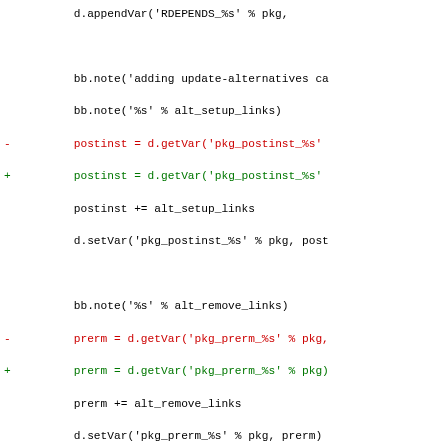Code diff showing changes to update-alternatives and package_do_filedeps_append Python functions, with removed lines in red and added lines in green.